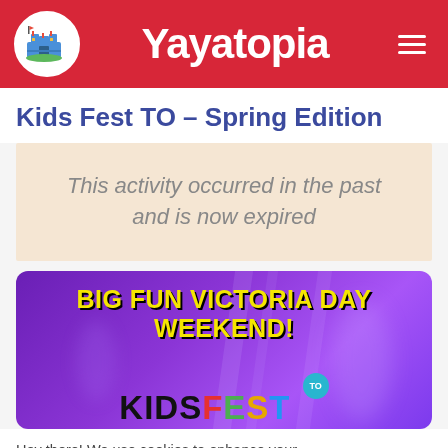Yayatopia
Kids Fest TO – Spring Edition
This activity occurred in the past and is now expired
[Figure (illustration): Kids Fest TO promotional banner with purple background, yellow text reading BIG FUN VICTORIA DAY WEEKEND! and Kids Fest TO logo at bottom]
Hey there! We use cookies to enhance your search and browsing experience! Learn more here. Got it!